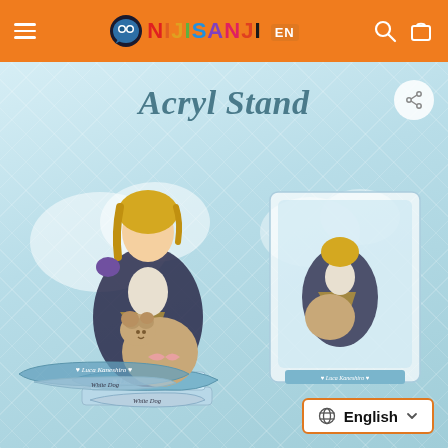NIJISANJI EN - navigation header
[Figure (screenshot): Product page for Luca Kaneshiro Acryl Stand merchandise from NIJISANJI EN shop. Shows an acrylic standee figure of anime character Luca Kaneshiro holding a teddy bear, with a smaller card version also shown. The background is light blue with cloud and diamond patterns. Base labels read 'Luca Kaneshiro' and 'White Dog'.]
Acryl Stand